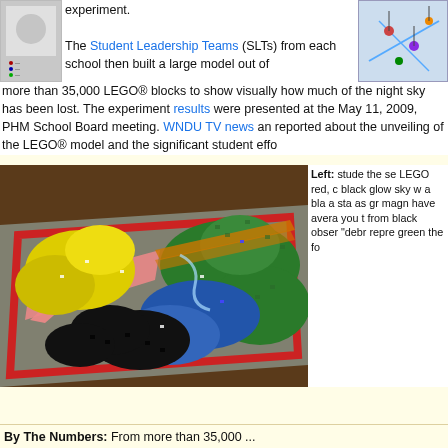experiment.
[Figure (photo): Small grayscale image, possibly a legend or microscope image on the upper left]
The Student Leadership Teams (SLTs) from each school then built a large model out of more than 35,000 LEGO® blocks to show visually how much of the night sky has been lost. The experiment results were presented at the May 11, 2009, PHM School Board meeting. WNDU TV news and reported about the unveiling of the LEGO® model and the significant student effo...
[Figure (photo): Color image on the upper right showing colored pins or markers on a map]
[Figure (photo): Large photo of a LEGO model showing a map of the night sky, with green, yellow, blue, black, and orange LEGO bricks arranged to show light pollution zones]
Left: students the se LEGO red, c black glow sky w a bla a sta as gr magn have avera you t from black obser "debr repre green the fo
By The Numbers: From more than 35,000 ...